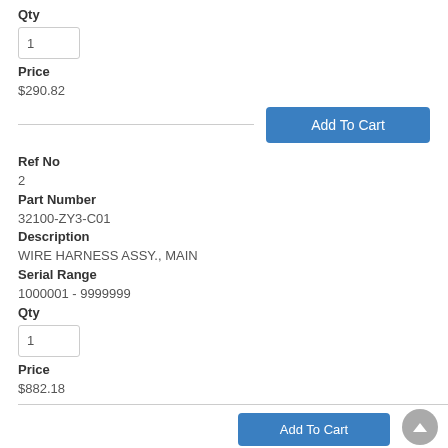Qty
1
Price
$290.82
Add To Cart
Ref No
2
Part Number
32100-ZY3-C01
Description
WIRE HARNESS ASSY., MAIN
Serial Range
1000001 - 9999999
Qty
1
Price
$882.18
Add To Cart